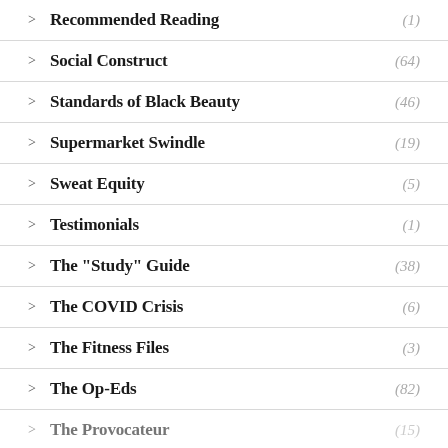Recommended Reading (1)
Social Construct (64)
Standards of Black Beauty (46)
Supermarket Swindle (19)
Sweat Equity (5)
Testimonials (1)
The "Study" Guide (38)
The COVID Crisis (6)
The Fitness Files (3)
The Op-Eds (82)
The Provocateur (15)